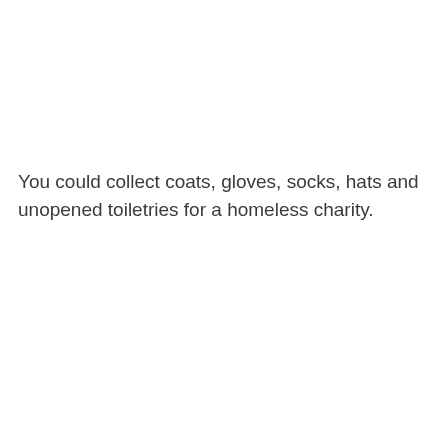You could collect coats, gloves, socks, hats and unopened toiletries for a homeless charity.